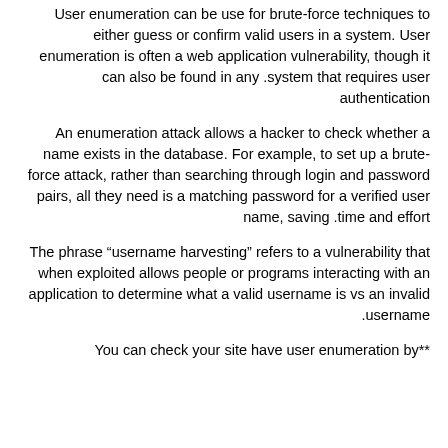User enumeration can be use for brute-force techniques to either guess or confirm valid users in a system. User enumeration is often a web application vulnerability, though it can also be found in any system that requires user authentication.
An enumeration attack allows a hacker to check whether a name exists in the database. For example, to set up a brute-force attack, rather than searching through login and password pairs, all they need is a matching password for a verified user name, saving time and effort.
The phrase “username harvesting” refers to a vulnerability that when exploited allows people or programs interacting with an application to determine what a valid username is vs an invalid username.
You can check your site have user enumeration by**